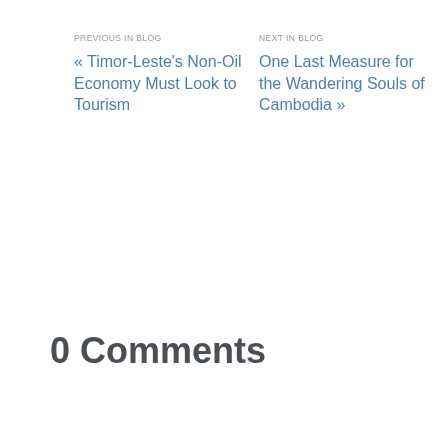PREVIOUS IN BLOG
« Timor-Leste's Non-Oil Economy Must Look to Tourism
NEXT IN BLOG
One Last Measure for the Wandering Souls of Cambodia »
0 Comments